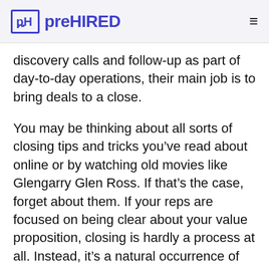preHIRED
discovery calls and follow-up as part of day-to-day operations, their main job is to bring deals to a close.
You may be thinking about all sorts of closing tips and tricks you’ve read about online or by watching old movies like Glengarry Glen Ross. If that’s the case, forget about them. If your reps are focused on being clear about your value proposition, closing is hardly a process at all. Instead, it’s a natural occurrence of the